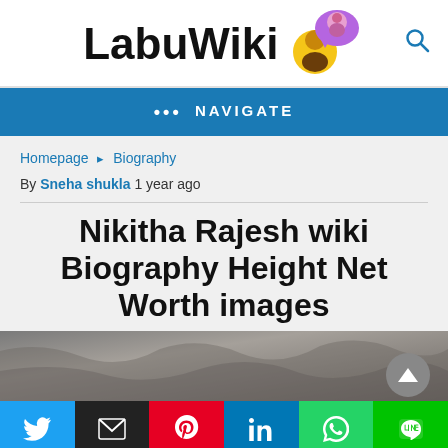[Figure (logo): LabuWiki logo with cartoon avatar icons]
••• NAVIGATE
Homepage ▸ Biography
By Sneha shukla 1 year ago
Nikitha Rajesh wiki Biography Height Net Worth images
[Figure (photo): Article header image, stone/rock texture background]
[Figure (infographic): Social share bar with Twitter, Email, Pinterest, LinkedIn, WhatsApp, LINE buttons]